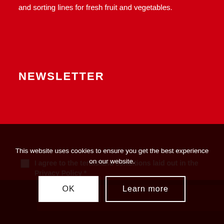and sorting lines for fresh fruit and vegetables.
NEWSLETTER
Name*
E-mail*
I agree to the terms and conditions laid out in the Privacy Policy *
REGISTER
This website uses cookies to ensure you get the best experience on our website.
OK
Learn more